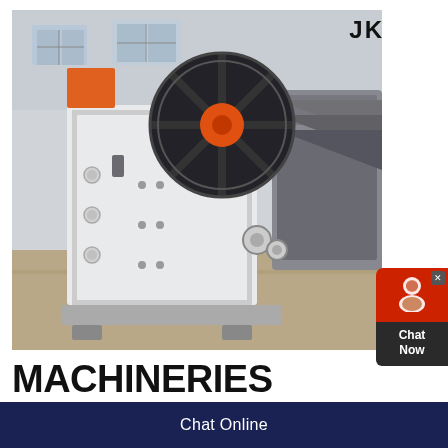[Figure (photo): Industrial jaw crusher / pulverizer machine in a factory setting. The machine is white with a large black flywheel with an orange center hub. Manufacturing factory background with concrete floor and industrial lighting.]
MACHINERIES pulverizer machine manufacturers in
With three decades of service J K Machineries is proud to represent itself as a manufacturer,
Chat Online